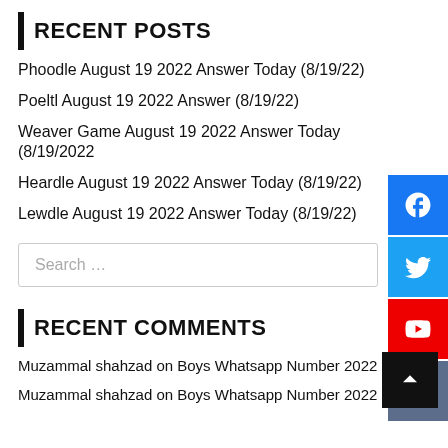RECENT POSTS
Phoodle August 19 2022 Answer Today (8/19/22)
Poeltl August 19 2022 Answer (8/19/22)
Weaver Game August 19 2022 Answer Today (8/19/2022)
Heardle August 19 2022 Answer Today (8/19/22)
Lewdle August 19 2022 Answer Today (8/19/22)
Search …
RECENT COMMENTS
Muzammal shahzad on Boys Whatsapp Number 2022
Muzammal shahzad on Boys Whatsapp Number 2022